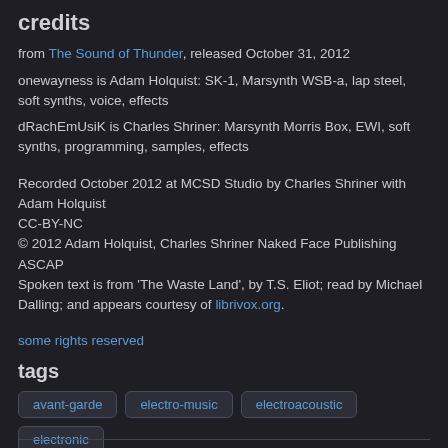credits
from The Sound of Thunder, released October 31, 2012
onewayness is Adam Holquist: SK-1, Marsynth WSB-a, lap steel, soft synths, voice, effects
dRachEmUsiK is Charles Shriner: Marsynth Morris Box, EWI, soft synths, programming, samples, effects
Recorded October 2012 at MCSD Studio by Charles Shriner with Adam Holquist
CC-BY-NC
© 2012 Adam Holquist, Charles Shriner Naked Face Publishing ASCAP
Spoken text is from 'The Waste Land', by T.S. Eliot; read by Michael Dalling; and appears courtesy of librivox.org.
some rights reserved
tags
avant-garde
electro-music
electroacoustic
electronic
experimental
Indianapolis